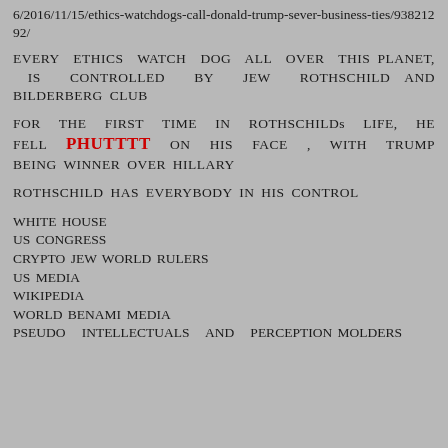6/2016/11/15/ethics-watchdogs-call-donald-trump-sever-business-ties/93821292/
EVERY ETHICS WATCH DOG ALL OVER THIS PLANET, IS CONTROLLED BY JEW ROTHSCHILD AND BILDERBERG CLUB
FOR THE FIRST TIME IN ROTHSCHILDs LIFE, HE FELL PHUTTTT ON HIS FACE , WITH TRUMP BEING WINNER OVER HILLARY
ROTHSCHILD HAS EVERYBODY IN HIS CONTROL
WHITE HOUSE
US CONGRESS
CRYPTO JEW WORLD RULERS
US MEDIA
WIKIPEDIA
WORLD BENAMI MEDIA
PSEUDO INTELLECTUALS AND PERCEPTION MOLDERS